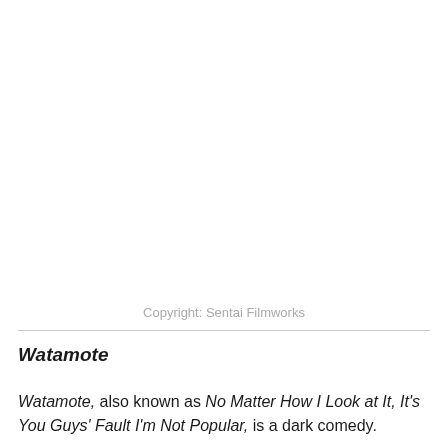[Figure (photo): Large image area (white/blank) attributed to Sentai Filmworks — likely an anime screenshot or promotional image from Watamote.]
Copyright: Sentai Filmworks
Watamote
Watamote, also known as No Matter How I Look at It, It's You Guys' Fault I'm Not Popular, is a dark comedy.